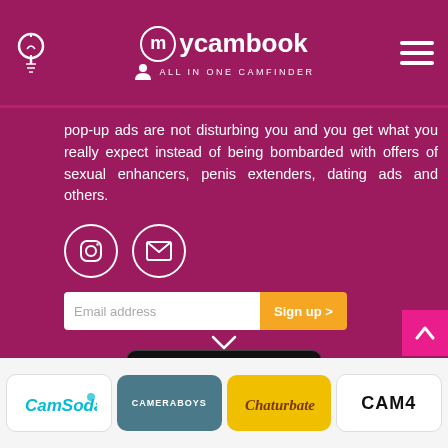mycambook - ALL IN ONE CAMFINDER
pop-up ads are not disturbing you and you get what you really expect instead of being bombarded with offers of sexual enhancers, penis extenders, dating ads and others.
[Figure (illustration): Instagram icon and email/envelope icon in white circles]
[Figure (screenshot): Email address input field with Sign up button]
[Figure (logo): GET IT ON Google Play badge]
[Figure (logo): SECURE SSL ENCRYPTION badge with green padlock]
CamSoda | CAMERABOYS | Chaturbate | CAM4